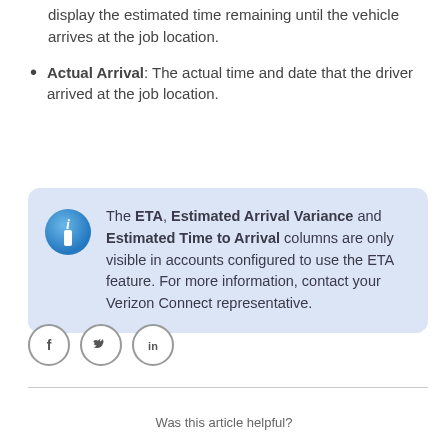display the estimated time remaining until the vehicle arrives at the job location.
Actual Arrival: The actual time and date that the driver arrived at the job location.
The ETA, Estimated Arrival Variance and Estimated Time to Arrival columns are only visible in accounts configured to use the ETA feature. For more information, contact your Verizon Connect representative.
[Figure (infographic): Social media icons: Facebook (f), Twitter (bird), LinkedIn (in)]
Was this article helpful?